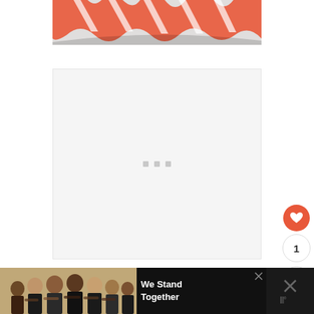[Figure (photo): Coral/orange and white patterned fabric or clothing item folded, photographed from above on a light gray background. Only the bottom portion of the item is visible, showing a geometric zigzag or chevron pattern in salmon/coral red and white.]
[Figure (screenshot): A light gray loading placeholder card/panel with three small gray square loading dots centered in the middle, indicating content is being loaded.]
[Figure (infographic): Social interaction buttons on the right side: a coral/red circular heart (like/favorite) button, a count showing '1', and a share button (arrow icon with plus sign).]
[Figure (photo): Advertisement banner at the bottom. Left portion shows a group of diverse young people standing with arms around each other viewed from behind. Text overlay reads 'We Stand Together' in white bold text on black. Right portion has a dark panel with an X close mark and stylized W logo marks.]